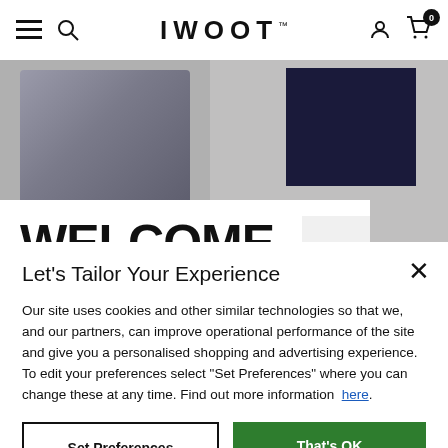IWOOT™ navigation bar with menu, search, account, and cart (0 items)
[Figure (screenshot): Partial product images visible behind modal: decorative item on left, dark navy rectangle on right]
WELCOME
Let's Tailor Your Experience
Our site uses cookies and other similar technologies so that we, and our partners, can improve operational performance of the site and give you a personalised shopping and advertising experience. To edit your preferences select "Set Preferences" where you can change these at any time. Find out more information here.
Set Preferences
That's OK